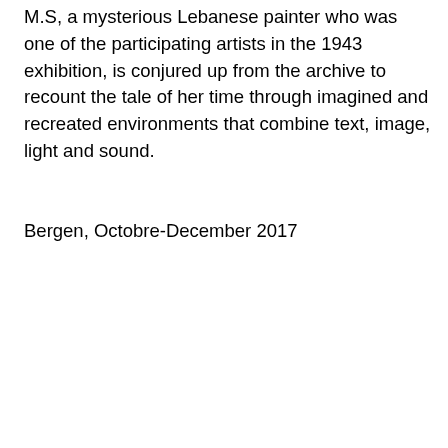M.S, a mysterious Lebanese painter who was one of the participating artists in the 1943 exhibition, is conjured up from the archive to recount the tale of her time through imagined and recreated environments that combine text, image, light and sound.
Bergen, Octobre-December 2017